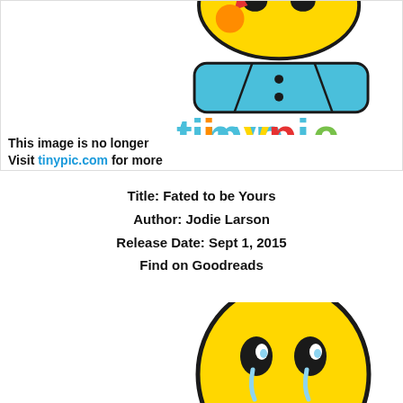[Figure (illustration): Tinypic placeholder image showing a cartoon sad robot character with 'tinypic' logo text and the message 'This image is no longer available. Visit tinypic.com for more info.']
Title: Fated to be Yours
Author: Jodie Larson
Release Date: Sept 1, 2015
Find on Goodreads
[Figure (illustration): Bottom portion of Tinypic placeholder image showing a yellow sad crying face emoji/character.]